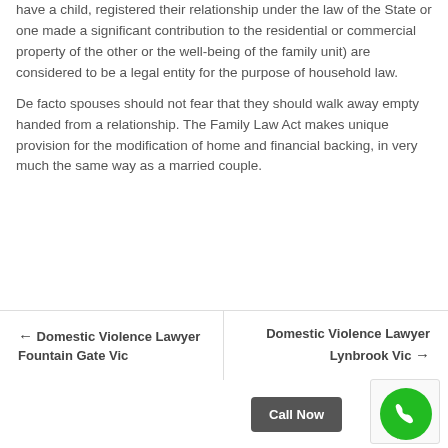have a child, registered their relationship under the law of the State or one made a significant contribution to the residential or commercial property of the other or the well-being of the family unit) are considered to be a legal entity for the purpose of household law.
De facto spouses should not fear that they should walk away empty handed from a relationship. The Family Law Act makes unique provision for the modification of home and financial backing, in very much the same way as a married couple.
← Domestic Violence Lawyer Fountain Gate Vic
Domestic Violence Lawyer Lynbrook Vic →
Call Now